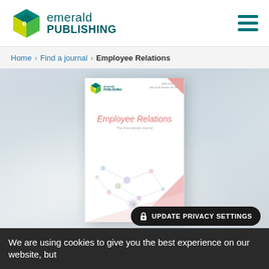[Figure (logo): Emerald Publishing logo — hexagon icon with teal/green/yellow colors and text 'emerald PUBLISHING']
emerald PUBLISHING
Home › Find a journal › Employee Relations
[Figure (photo): Emerald Publishing journal cover for 'Employee Relations: The International Journal', showing network diagram graphic with pastel colors, ISSN 0142-5455, Volume 00 Number 00 2026]
We are using cookies to give you the best experience on our website, but